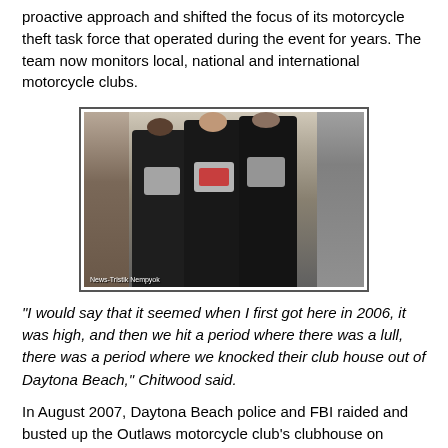proactive approach and shifted the focus of its motorcycle theft task force that operated during the event for years. The team now monitors local, national and international motorcycle clubs.
[Figure (photo): Photo of people wearing motorcycle club vests including 'Outlaws Jacksonville' patches, standing in what appears to be a shop or vendor area. Photo credit visible in lower left corner.]
“I would say that it seemed when I first got here in 2006, it was high, and then we hit a period where there was a lull, there was a period where we knocked their club house out of Daytona Beach,” Chitwood said.
In August 2007, Daytona Beach police and FBI raided and busted up the Outlaws motorcycle club’s clubhouse on Beach Street. The Outlaws MC tried making a comeback but